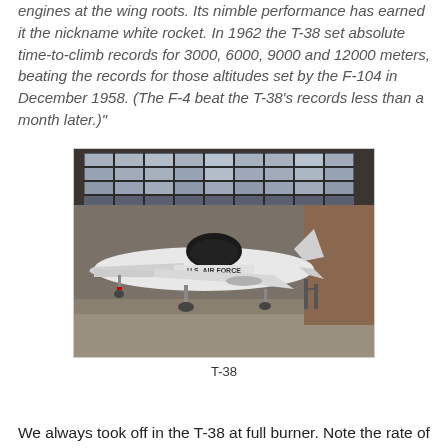engines at the wing roots. Its nimble performance has earned it the nickname white rocket. In 1962 the T-38 set absolute time-to-climb records for 3000, 6000, 9000 and 12000 meters, beating the records for those altitudes set by the F-104 in December 1958. (The F-4 beat the T-38's records less than a month later.)"
[Figure (photo): A white U.S. Air Force T-38 jet trainer aircraft parked inside a large hangar with tall windows letting in natural light. The aircraft is white with 'U.S. AIR FORCE' text visible on the fuselage.]
T-38
We always took off in the T-38 at full burner. Note the rate of